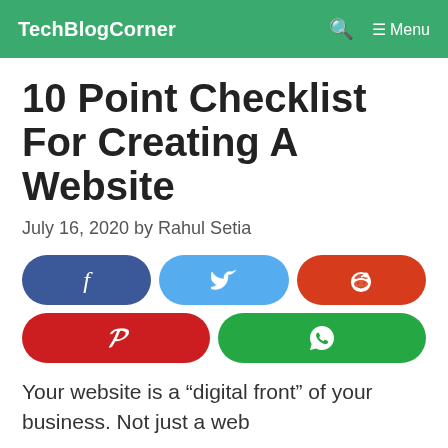TechBlogCorner  🔍  ≡ Menu
10 Point Checklist For Creating A Website
July 16, 2020 by Rahul Setia
[Figure (infographic): Social share buttons: Facebook (dark blue, f icon), Twitter (light blue, bird icon), Reddit (orange-red, alien icon), Pinterest (red, P icon), WhatsApp (green, phone icon)]
Your website is a “digital front” of your business. Not just a web